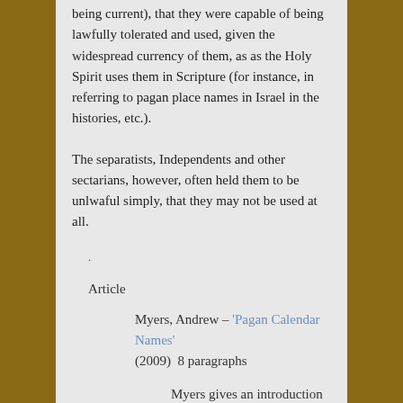being current), that they were capable of being lawfully tolerated and used, given the widespread currency of them, as as the Holy Spirit uses them in Scripture (for instance, in referring to pagan place names in Israel in the histories, etc.).
The separatists, Independents and other sectarians, however, often held them to be unlwaful simply, that they may not be used at all.
.
Article
Myers, Andrew – 'Pagan Calendar Names' (2009)  8 paragraphs
Myers gives an introduction to the issues in the puritan era, quoting a